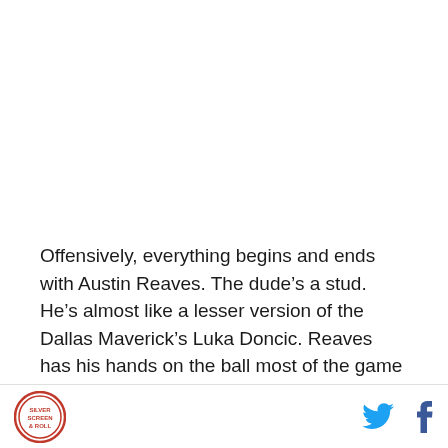Offensively, everything begins and ends with Austin Reaves. The dude’s a stud. He’s almost like a lesser version of the Dallas Maverick’s Luka Doncic. Reaves has his hands on the ball most of the game (25.3% USG%), and he uses his size/skill combo to attack the rim (43.0% FG%), dish out assists (29.2% AST%), and crash the glass (8.7% REB%). His one weakness is his
[logo] [twitter] [facebook]